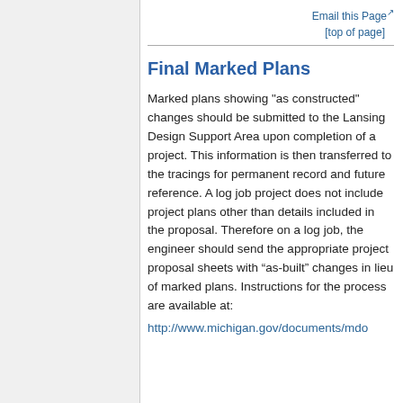Email this Page [top of page]
Final Marked Plans
Marked plans showing "as constructed" changes should be submitted to the Lansing Design Support Area upon completion of a project. This information is then transferred to the tracings for permanent record and future reference. A log job project does not include project plans other than details included in the proposal. Therefore on a log job, the engineer should send the appropriate project proposal sheets with “as-built” changes in lieu of marked plans. Instructions for the process are available at:
http://www.michigan.gov/documents/mdo